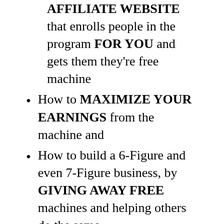AFFILIATE WEBSITE that enrolls people in the program FOR YOU and gets them they're free machine
How to MAXIMIZE YOUR EARNINGS from the machine and
How to build a 6-Figure and even 7-Figure business, by GIVING AWAY FREE machines and helping others do the same.
How It Works
This machine earns you money because you're hosting a hotspot location (at your home, apartment, or business, or even a friend's home or business) and therefore you